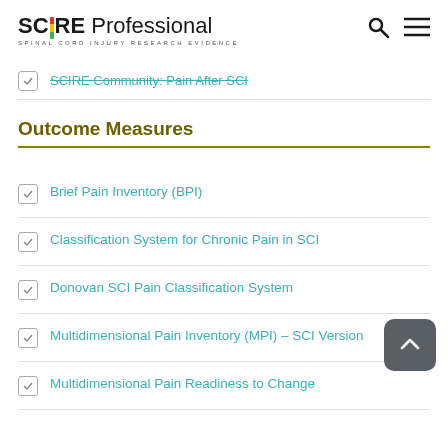SCIRE Professional — SPINAL CORD INJURY RESEARCH EVIDENCE
SCIRE Community: Pain After SCI
Outcome Measures
Brief Pain Inventory (BPI)
Classification System for Chronic Pain in SCI
Donovan SCI Pain Classification System
Multidimensional Pain Inventory (MPI) – SCI Version
Multidimensional Pain Readiness to Change